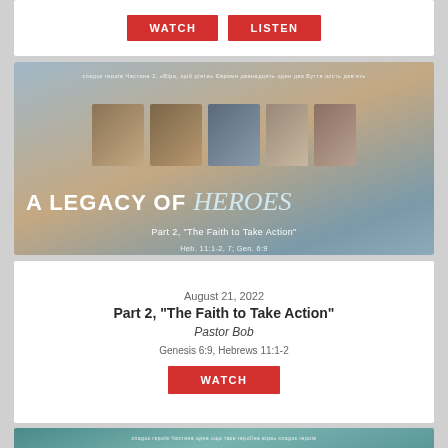[Figure (other): Two red buttons labeled WATCH and LISTEN on a white card]
[Figure (illustration): Sermon series banner: A Legacy of Heroes, Part 2, The Faith to Take Action. Shows multiple portrait thumbnails against a sky background. Text: Heb. 11:1-2, 7; Gen. 6:9]
August 21, 2022
Part 2, "The Faith to Take Action"
Pastor Bob
Genesis 6:9, Hebrews 11:1-2
[Figure (other): Red WATCH button]
[Figure (illustration): Bottom portion of another sermon series banner visible, teal/green tones with Ukrainian text]